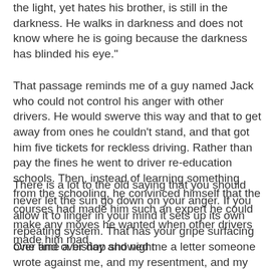the light, yet hates his brother, is still in the darkness. He walks in darkness and does not know where he is going because the darkness has blinded his eye."
That passage reminds me of a guy named Jack who could not control his anger with other drivers. He would swerve this way and that to get away from ones he couldn't stand, and that got him five tickets for reckless driving. Rather than pay the fines he went to driver re-education schools. Then, instead of learning something from the schooling, he convinced himself that the courses had made him such an expert he could make any moves he wanted when other drivers made him mad.
There is a lot to the old saying that you should never let the sun go down on your anger. If you allow it to linger in your mind it sets up its own repeating system. That has your gripe surfacing over and over day and night.
One time a bishop showed me a letter someone wrote against me, and my resentment, and my dislike for the letter writer became something like a song I couldn't get out of my